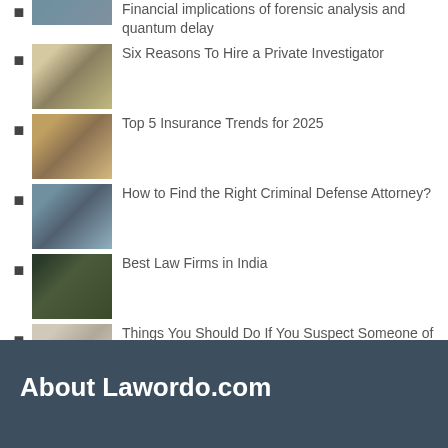Financial implications of forensic analysis and quantum delay
Six Reasons To Hire a Private Investigator
Top 5 Insurance Trends for 2025
How to Find the Right Criminal Defense Attorney?
Best Law Firms in India
Things You Should Do If You Suspect Someone of Stealing Your Trade Secrets
Legal options Upon Insurance Claim being Rejected?
About Lawordo.com